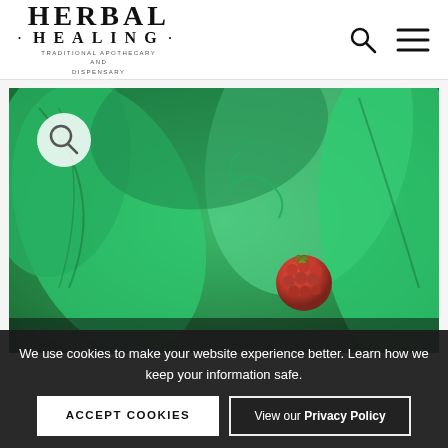HERBAL HEALING · TRADITIONAL APOTHECARY and DISPENSARY
[Figure (photo): Close-up photo of a raspberry fruit among large green leaves on a plant, with a search/magnify icon circle overlay in the top-left corner of the image]
We use cookies to make your website experience better. Learn how we keep your information safe.
ACCEPT COOKIES
View our Privacy Policy